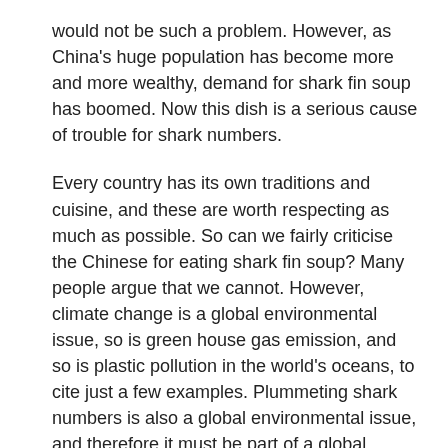would not be such a problem. However, as China's huge population has become more and more wealthy, demand for shark fin soup has boomed. Now this dish is a serious cause of trouble for shark numbers.
Every country has its own traditions and cuisine, and these are worth respecting as much as possible. So can we fairly criticise the Chinese for eating shark fin soup? Many people argue that we cannot. However, climate change is a global environmental issue, so is green house gas emission, and so is plastic pollution in the world's oceans, to cite just a few examples. Plummeting shark numbers is also a global environmental issue, and therefore it must be part of a global conversation. This isn't a matter of criticising national traditions, but of including them in global questions of environmental ethics.